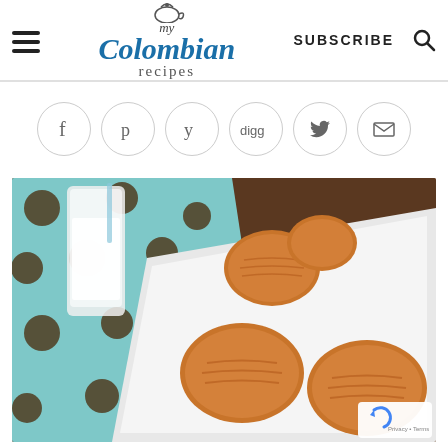my Colombian recipes | SUBSCRIBE
[Figure (infographic): Social sharing icons row: Facebook (f), Pinterest (p), Yummly (y), Digg (digg), Twitter bird, Email envelope — each in a light circular border]
[Figure (photo): Photo of Colombian cookies (galletas) on a white rectangular plate, a glass of milk, and a blue polka-dot napkin on a wooden table background]